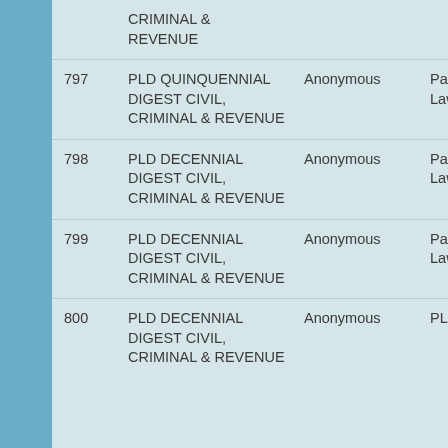| # | Title | Author | Publisher |
| --- | --- | --- | --- |
|  | CRIMINAL & REVENUE |  |  |
| 797 | PLD QUINQUENNIAL DIGEST CIVIL, CRIMINAL & REVENUE | Anonymous | Pakistan Law Dig… |
| 798 | PLD DECENNIAL DIGEST CIVIL, CRIMINAL & REVENUE | Anonymous | Pakistan Law Dig… |
| 799 | PLD DECENNIAL DIGEST CIVIL, CRIMINAL & REVENUE | Anonymous | Pakistan Law Dig… |
| 800 | PLD DECENNIAL DIGEST CIVIL, CRIMINAL & REVENUE | Anonymous | PLD Pub… |